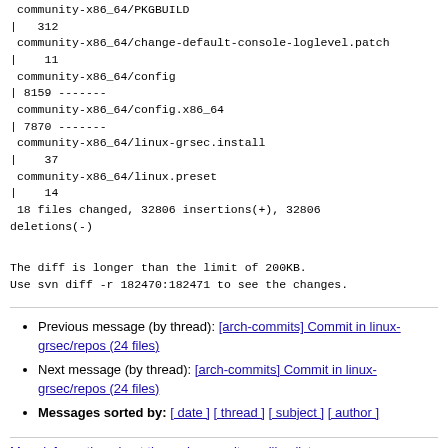community-x86_64/PKGBUILD
|  312
community-x86_64/change-default-console-loglevel.patch
|   11
community-x86_64/config
| 8159 -------
community-x86_64/config.x86_64
| 7870 -------
community-x86_64/linux-grsec.install
|   37
community-x86_64/linux.preset
|   14
18 files changed, 32806 insertions(+), 32806 deletions(-)
The diff is longer than the limit of 200KB.
Use svn diff -r 182470:182471 to see the changes.
Previous message (by thread): [arch-commits] Commit in linux-grsec/repos (24 files)
Next message (by thread): [arch-commits] Commit in linux-grsec/repos (24 files)
Messages sorted by: [ date ] [ thread ] [ subject ] [ author ]
More information about the arch-commits mailing list